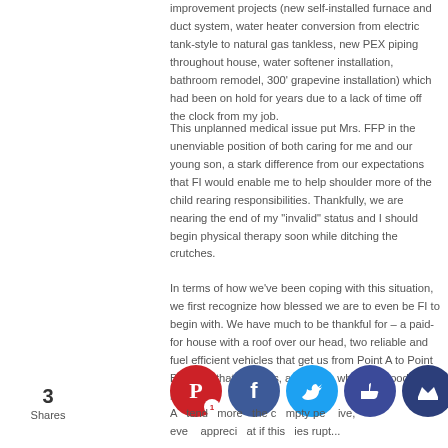improvement projects (new self-installed furnace and duct system, water heater conversion from electric tank-style to natural gas tankless, new PEX piping throughout house, water softener installation, bathroom remodel, 300' grapevine installation) which had been on hold for years due to a lack of time off the clock from my job.
This unplanned medical issue put Mrs. FFP in the unenviable position of both caring for me and our young son, a stark difference from our expectations that FI would enable me to help shoulder more of the child rearing responsibilities. Thankfully, we are nearing the end of my "invalid" status and I should begin physical therapy soon while ditching the crutches.
In terms of how we've been coping with this situation, we first recognize how blessed we are to even be FI to begin with. We have much to be thankful for – a paid-for house with a roof over our head, two reliable and fuel efficient vehicles that get us from Point A to Point B, family that loves us, and a son who is in good health.
A tend more the c mpty pe ive, eve appreci at if this ies rupt...
3 Shares